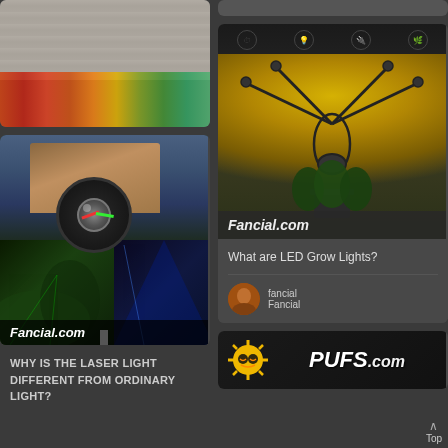[Figure (photo): Partial card at top left showing fruits and vegetables arranged on a wooden surface background]
[Figure (photo): Laser light projector device shown against a house with green and blue laser light effects, with Fancial.com branding]
WHY IS THE LASER LIGHT DIFFERENT FROM ORDINARY LIGHT?
[Figure (photo): Partial card at top right, dark background]
[Figure (photo): LED grow light with multiple arms spreading yellow light over plants, with icons for features, Fancial.com branding overlay]
What are LED Grow Lights?
fancial Fancial
[Figure (logo): PUFS.com logo with sun mascot character on dark background]